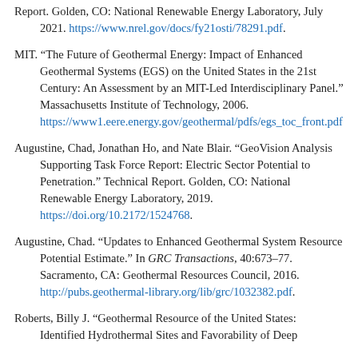Report. Golden, CO: National Renewable Energy Laboratory, July 2021. https://www.nrel.gov/docs/fy21osti/78291.pdf.
MIT. “The Future of Geothermal Energy: Impact of Enhanced Geothermal Systems (EGS) on the United States in the 21st Century: An Assessment by an MIT-Led Interdisciplinary Panel.” Massachusetts Institute of Technology, 2006. https://www1.eere.energy.gov/geothermal/pdfs/egs_toc_front.pdf
Augustine, Chad, Jonathan Ho, and Nate Blair. “GeoVision Analysis Supporting Task Force Report: Electric Sector Potential to Penetration.” Technical Report. Golden, CO: National Renewable Energy Laboratory, 2019. https://doi.org/10.2172/1524768.
Augustine, Chad. “Updates to Enhanced Geothermal System Resource Potential Estimate.” In GRC Transactions, 40:673–77. Sacramento, CA: Geothermal Resources Council, 2016. http://pubs.geothermal-library.org/lib/grc/1032382.pdf.
Roberts, Billy J. “Geothermal Resource of the United States: Identified Hydrothermal Sites and Favorability of Deep